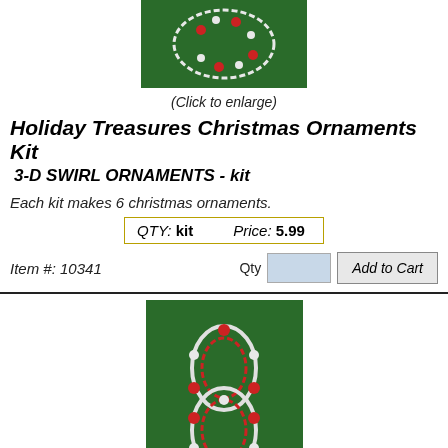[Figure (photo): Christmas ornament on green background - swirl ornament made of beads]
(Click to enlarge)
Holiday Treasures Christmas Ornaments Kit
3-D SWIRL ORNAMENTS - kit
Each kit makes 6 christmas ornaments.
QTY: kit    Price: 5.99
Item #: 10341
[Figure (photo): Christmas ornament on green background - chain links ornament made of beads]
(Click to enlarge)
Holiday Treasures Christmas Ornaments Kit
3 1/2" -  CHAIN LINKS - kit